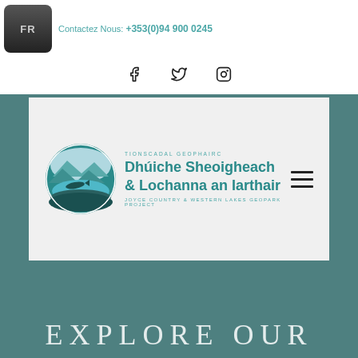FR   Contactez Nous: +353(0)94 900 0245
[Figure (logo): Social media icons: Facebook, Twitter, Instagram]
[Figure (logo): Joyce Country & Western Lakes Geopark Project logo with circular landscape illustration and Irish/English text: TIONSCADAL GEOPHAIRC / Dhuiche Sheoigheach & Lochanna an Iarthair / JOYCE COUNTRY & WESTERN LAKES GEOPARK PROJECT]
EXPLORE OUR